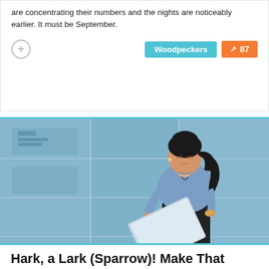are concentrating their numbers and the nights are noticeably earlier. It must be September.
Woodpeckers
87
[Figure (photo): A woman with dark hair in a ponytail wearing a short-sleeved blue shirt holding a tablet, standing in front of a large glass-paneled building facade with a blue/grey toned background.]
Hark, a Lark (Sparrow)! Make That